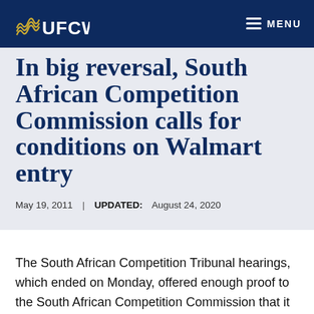UFCW | MENU
In big reversal, South African Competition Commission calls for conditions on Walmart entry
May 19, 2011  |  UPDATED: August 24, 2020
The South African Competition Tribunal hearings, which ended on Monday, offered enough proof to the South African Competition Commission that it reversed its earlier decision